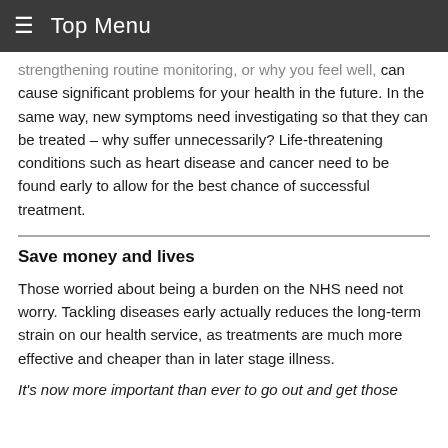≡ Top Menu
strengthening routine monitoring, or why you feel well, can cause significant problems for your health in the future. In the same way, new symptoms need investigating so that they can be treated – why suffer unnecessarily? Life-threatening conditions such as heart disease and cancer need to be found early to allow for the best chance of successful treatment.
Save money and lives
Those worried about being a burden on the NHS need not worry. Tackling diseases early actually reduces the long-term strain on our health service, as treatments are much more effective and cheaper than in later stage illness.
It's now more important than ever to go out and get those